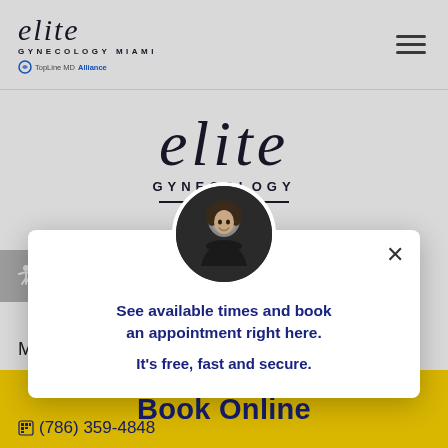[Figure (logo): Elite Gynecology Miami logo with TopLine MD Alliance badge in header]
[Figure (logo): Elite Gynecology large logo centered on page background]
[Figure (photo): Circular portrait photo of a smiling person in dark clothing, displayed as modal avatar]
See available times and book an appointment right here.
It's free, fast and secure.
Miami, FL 33133
Book Online
(786) 359-4848